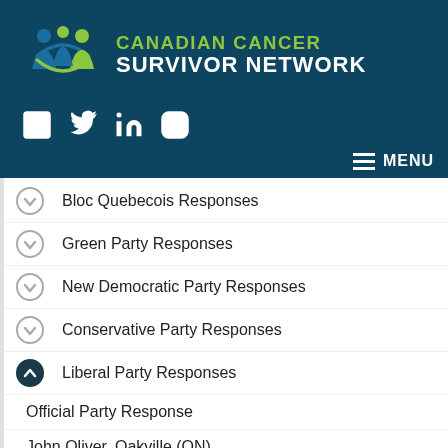[Figure (logo): Canadian Cancer Survivor Network logo with stylized figure icons in blue and green]
CANADIAN CANCER SURVIVOR NETWORK
[Figure (infographic): Social media icons: Facebook, Twitter, LinkedIn, Instagram]
Bloc Quebecois Responses
Green Party Responses
New Democratic Party Responses
Conservative Party Responses
Liberal Party Responses
Official Party Response
John Oliver, Oakville (ON)
Neil Ellis, Bay of Quinte (ON)
Bill Casey, Cumberland-Colchester (NS)
Alexandra Mendes, Brossard-Saint-Lambert (QC)